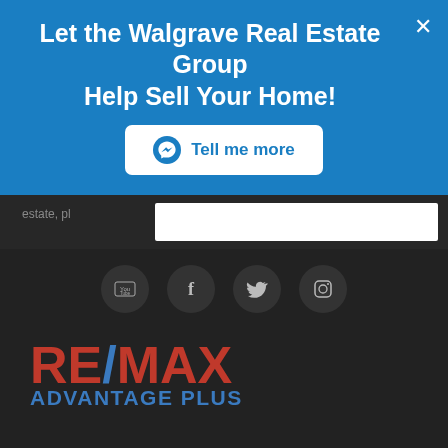Let the Walgrave Real Estate Group Help Sell Your Home!
[Figure (screenshot): Blue banner with 'Tell me more' button featuring Messenger icon, close X button in top right]
estate, pl
[Figure (logo): Social media icons: YouTube, Facebook, Twitter, Instagram in dark circles]
[Figure (logo): RE/MAX Advantage Plus logo in red and blue on dark background]
MLS® Disclaimer
[Figure (logo): Broker logo partial at bottom]